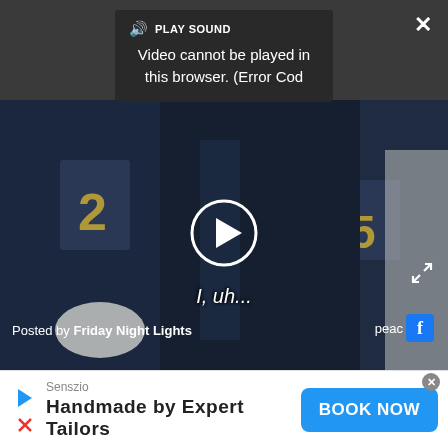[Figure (screenshot): Video player showing a football scene (Friday Night Lights). The video cannot play and shows an error overlay: 'PLAY SOUND Video cannot be played in this browser. (Error Cod'. A play button circle is overlaid on the video thumbnail. Subtitle text reads 'I, uh...'. Posted by Friday Night Lights with Peacock and Facebook icons.]
I, uh...
Posted by Friday Night Lights
[Figure (infographic): Advertisement for Senszio: 'Handmade by Expert Tailors' with a BOOK NOW button in blue.]